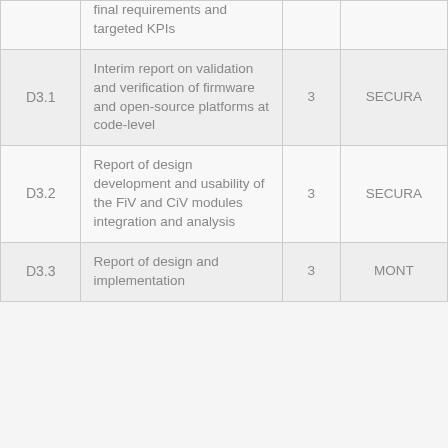|  | Description | WP | Lead |
| --- | --- | --- | --- |
|  | final requirements and targeted KPIs |  |  |
| D3.1 | Interim report on validation and verification of firmware and open-source platforms at code-level | 3 | SECURA |
| D3.2 | Report of design development and usability of the FiV and CiV modules integration and analysis | 3 | SECURA |
| D3.3 | Report of design and implementation | 3 | MONT |